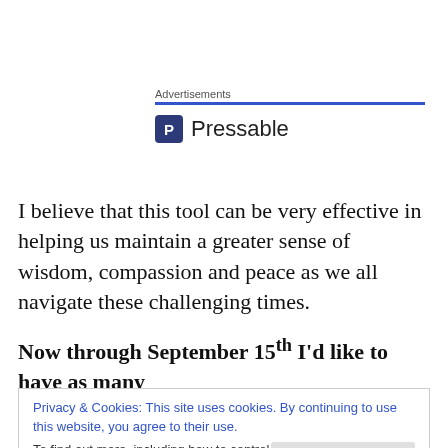[Figure (logo): Advertisements label with blue horizontal bar and Pressable logo (blue P icon followed by 'Pressable' text)]
I believe that this tool can be very effective in helping us maintain a greater sense of wisdom, compassion and peace as we all navigate these challenging times.
Now through September 15th I'd like to have as many
Privacy & Cookies: This site uses cookies. By continuing to use this website, you agree to their use.
To find out more, including how to control cookies, see here: Cookie Policy
coaching sessions with me. The first session will focus on